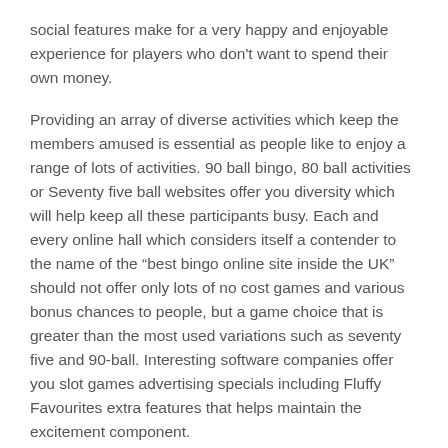social features make for a very happy and enjoyable experience for players who don't want to spend their own money.
Providing an array of diverse activities which keep the members amused is essential as people like to enjoy a range of lots of activities. 90 ball bingo, 80 ball activities or Seventy five ball websites offer you diversity which will help keep all these participants busy. Each and every online hall which considers itself a contender to the name of the “best bingo online site inside the UK” should not offer only lots of no cost games and various bonus chances to people, but a game choice that is greater than the most used variations such as seventy five and 90-ball. Interesting software companies offer you slot games advertising specials including Fluffy Favourites extra features that helps maintain the excitement component.
Start Playing Now
When it comes to bingo sites with no deposit required, there is a huge amount of choice and it can be difficult to decide